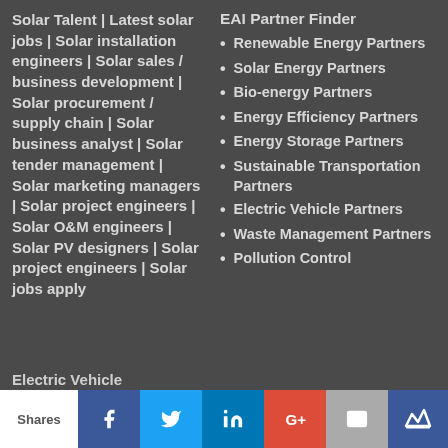Solar Talent | Latest solar jobs | Solar installation engineers | Solar sales / business development | Solar procurement / supply chain | Solar business analyst | Solar tender management | Solar marketing managers | Solar project engineers | Solar O&M engineers | Solar PV designers | Solar project engineers | Solar jobs apply
EAI Partner Finder
Renewable Energy Partners
Solar Energy Partners
Bio-energy Partners
Energy Efficiency Partners
Energy Storage Partners
Sustainable Transportation Partners
Electric Vehicle Partners
Waste Management Partners
Pollution Control
Electric Vehicle
Shares | Facebook | Twitter | LinkedIn | Google+ | Email | Crown